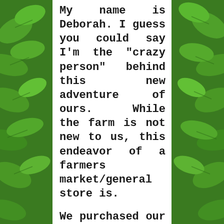[Figure (photo): Green leafy plant background visible on left and right sides of the page, flanking a white central text panel.]
My name is Deborah. I guess you could say I'm the "crazy person" behind this new adventure of ours. While the farm is not new to us, this endeavor of a farmers market/general store is.
We purchased our farm in the fall of 2011. It was "love at first sight". My husband and I, as well as my mom and our boys, walked away from the first viewing knowing it is what we wanted. Our daughter was off at college and was